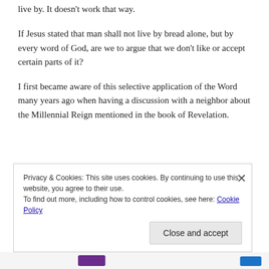live by. It doesn't work that way.
If Jesus stated that man shall not live by bread alone, but by every word of God, are we to argue that we don't like or accept certain parts of it?
I first became aware of this selective application of the Word many years ago when having a discussion with a neighbor about the Millennial Reign mentioned in the book of Revelation.
Privacy & Cookies: This site uses cookies. By continuing to use this website, you agree to their use.
To find out more, including how to control cookies, see here: Cookie Policy
Close and accept